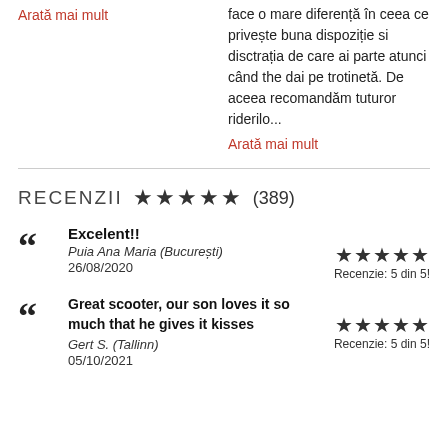Arată mai mult
face o mare diferență în ceea ce privește buna dispoziție si disctrația de care ai parte atunci când the dai pe trotinetă. De aceea recomandăm tuturor riderilo...
Arată mai mult
RECENZII ★★★★★ (389)
Excelent!!
Puia Ana Maria (București)
26/08/2020
★★★★★ Recenzie: 5 din 5!
Great scooter, our son loves it so much that he gives it kisses
Gert S. (Tallinn)
05/10/2021
★★★★★ Recenzie: 5 din 5!